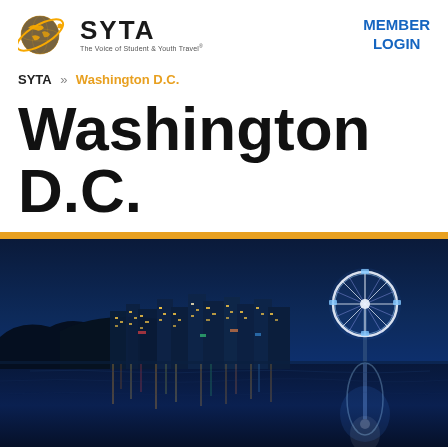SYTA - The Voice of Student & Youth Travel® | MEMBER LOGIN
SYTA » Washington D.C.
Washington D.C.
[Figure (photo): Night cityscape of Washington D.C. waterfront with colorful city lights reflecting on water and an illuminated Ferris wheel on the right side, set against a deep blue night sky.]